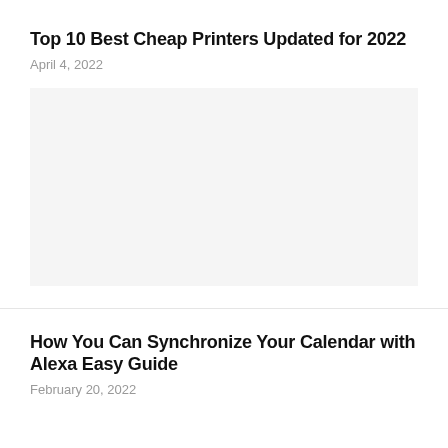Top 10 Best Cheap Printers Updated for 2022
April 4, 2022
[Figure (photo): Placeholder image area for article thumbnail]
How You Can Synchronize Your Calendar with Alexa Easy Guide
February 20, 2022